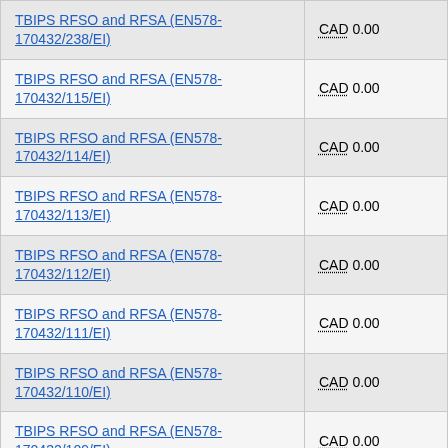| Contract/Amendment | Value |
| --- | --- |
| TBIPS RFSO and RFSA (EN578-170432/238/EI) | CAD 0.00 |
| TBIPS RFSO and RFSA (EN578-170432/115/EI) | CAD 0.00 |
| TBIPS RFSO and RFSA (EN578-170432/114/EI) | CAD 0.00 |
| TBIPS RFSO and RFSA (EN578-170432/113/EI) | CAD 0.00 |
| TBIPS RFSO and RFSA (EN578-170432/112/EI) | CAD 0.00 |
| TBIPS RFSO and RFSA (EN578-170432/111/EI) | CAD 0.00 |
| TBIPS RFSO and RFSA (EN578-170432/110/EI) | CAD 0.00 |
| TBIPS RFSO and RFSA (EN578-170432/109/EI) | CAD 0.00 |
| TBIPS RFSO and RFSA (EN578-170432/108/EI) | CAD 0.00 |